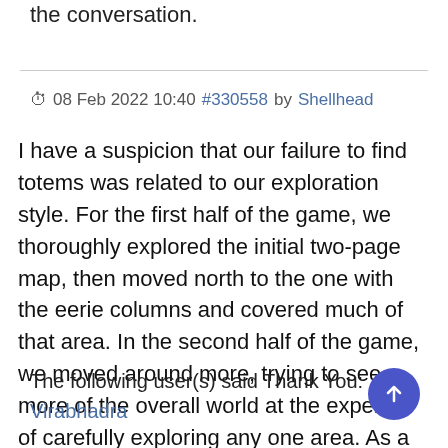the conversation.
08 Feb 2022 10:40 #330558 by Shellhead
I have a suspicion that our failure to find totems was related to our exploration style. For the first half of the game, we thoroughly explored the initial two-page map, then moved north to the one with the eerie columns and covered much of that area. In the second half of the game, we moved around more, trying to see more of the overall world at the expense of carefully exploring any one area. As a result, we racked up a lot of keywords that never became relevant.
The following user(s) said Thank You:
Virabhadra